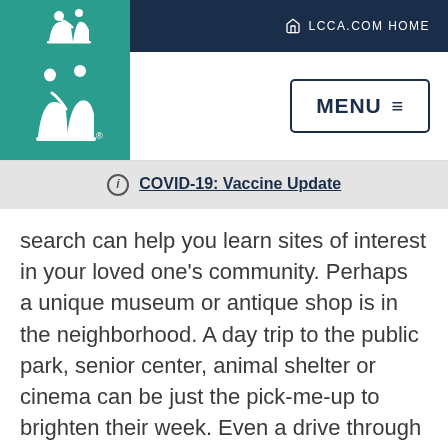LCCA.COM HOME
[Figure (logo): LCCA logo with caregiver and patient silhouette in white on teal background]
MENU ≡
ⓘ COVID-19: Vaccine Update
search can help you learn sites of interest in your loved one's community. Perhaps a unique museum or antique shop is in the neighborhood. A day trip to the public park, senior center, animal shelter or cinema can be just the pick-me-up to brighten their week. Even a drive through the countryside or scenic boulevard a memorable adventure.
[Figure (illustration): Teal circular phone call button with white handset icon]